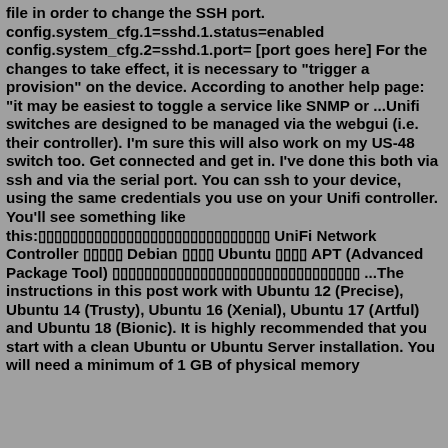file in order to change the SSH port. config.system_cfg.1=sshd.1.status=enabled config.system_cfg.2=sshd.1.port= [port goes here] For the changes to take effect, it is necessary to "trigger a provision" on the device. According to another help page: "it may be easiest to toggle a service like SNMP or ...Unifi switches are designed to be managed via the webgui (i.e. their controller). I'm sure this will also work on my US-48 switch too. Get connected and get in. I've done this both via ssh and via the serial port. You can ssh to your device, using the same credentials you use on your Unifi controller. You'll see something like this:▯▯▯▯▯▯▯▯▯▯▯▯▯▯▯▯▯▯▯▯▯▯▯▯▯▯▯▯▯ UniFi Network Controller ▯▯▯▯▯ Debian ▯▯▯▯ Ubuntu ▯▯▯▯ APT (Advanced Package Tool) ▯▯▯▯▯▯▯▯▯▯▯▯▯▯▯▯▯▯▯▯▯▯▯▯▯▯▯▯▯▯▯ ...The instructions in this post work with Ubuntu 12 (Precise), Ubuntu 14 (Trusty), Ubuntu 16 (Xenial), Ubuntu 17 (Artful) and Ubuntu 18 (Bionic). It is highly recommended that you start with a clean Ubuntu or Ubuntu Server installation. You will need a minimum of 1 GB of physical memory